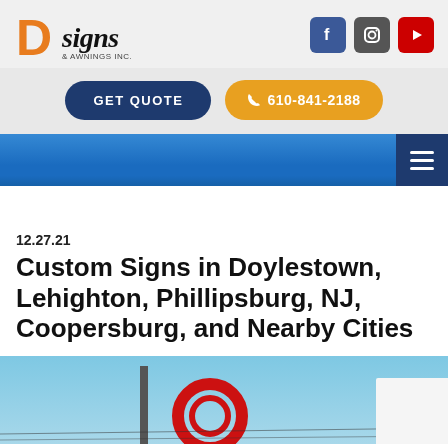[Figure (logo): D Signs & Awnings Inc. logo with orange D and stylized signs text]
[Figure (infographic): Social media icons: Facebook (blue), Instagram (gray), YouTube (red)]
GET QUOTE
610-841-2188
[Figure (infographic): Blue navigation bar with hamburger menu button on the right]
12.27.21
Custom Signs in Doylestown, Lehighton, Phillipsburg, NJ, Coopersburg, and Nearby Cities
[Figure (photo): Outdoor custom sign against blue sky background, partial view]